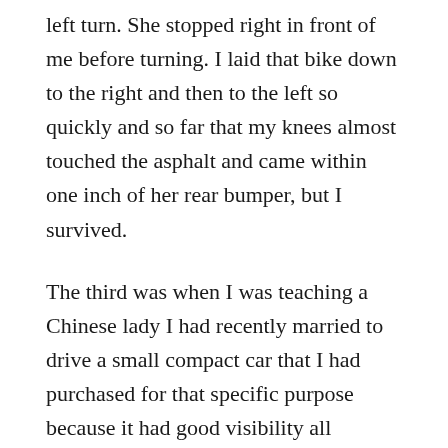left turn. She stopped right in front of me before turning. I laid that bike down to the right and then to the left so quickly and so far that my knees almost touched the asphalt and came within one inch of her rear bumper, but I survived.
The third was when I was teaching a Chinese lady I had recently married to drive a small compact car that I had purchased for that specific purpose because it had good visibility all around. She had a learners license, but apparently I had neglected to mention to her what the yellow “Slow” signs meant when approaching a curve (my own mistake). Just as the forest road we had been on merged with the